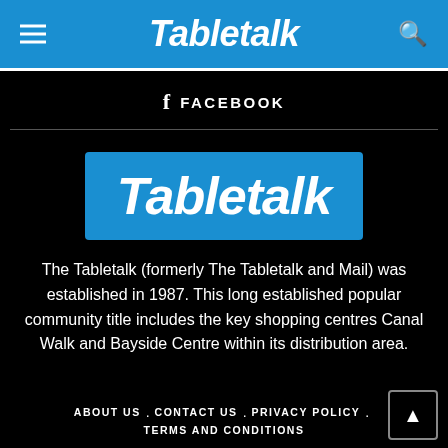Tabletalk
FACEBOOK
[Figure (logo): Tabletalk logo — white italic bold text on blue rectangle background]
The Tabletalk (formerly The Tabletalk and Mail) was established in 1987. This long established popular community title includes the key shopping centres Canal Walk and Bayside Centre within its distribution area.
ABOUT US . CONTACT US . PRIVACY POLICY . TERMS AND CONDITIONS